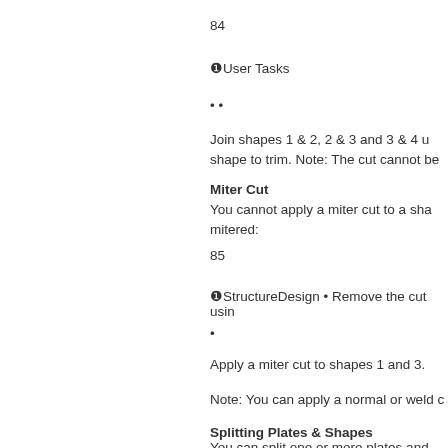84
❶User Tasks
• •
Join shapes 1 & 2, 2 & 3 and 3 & 4 u shape to trim. Note: The cut cannot be
Miter Cut
You cannot apply a miter cut to a sha mitered:
85
❶StructureDesign • Remove the cut usin
•
Apply a miter cut to shapes 1 and 3.
Note: You can apply a normal or weld c
Splitting Plates & Shapes
You can split one or more plates and sh
86